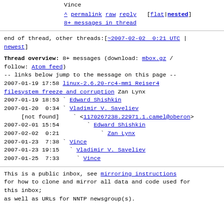Vince
^ permalink raw reply [flat|nested] 8+ messages in thread
end of thread, other threads:[~2007-02-02 0:21 UTC | newest]
Thread overview: 8+ messages (download: mbox.gz / follow: Atom feed)
-- links below jump to the message on this page --
2007-01-19 17:58 linux-2.6.20-rc4-mm1 Reiser4 filesystem freeze and corruption Zan Lynx
2007-01-19 18:53 ` Edward Shishkin
2007-01-20  0:34 ` Vladimir V. Saveliev
     [not found]   ` <1170267238.22971.1.camel@oberon>
2007-02-01 15:54       ` Edward Shishkin
2007-02-02  0:21           ` Zan Lynx
2007-01-23  7:38 ` Vince
2007-01-23 19:15   ` Vladimir V. Saveliev
2007-01-25  7:33     ` Vince
This is a public inbox, see mirroring instructions
for how to clone and mirror all data and code used for this inbox;
as well as URLs for NNTP newsgroup(s).